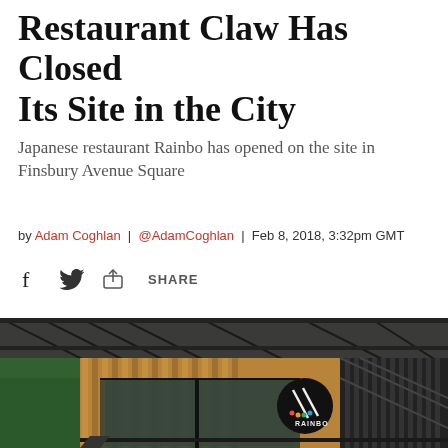Restaurant Claw Has Closed Its Site in the City
Japanese restaurant Rainbo has opened on the site in Finsbury Avenue Square
by Adam Coghlan | @AdamCoghlan | Feb 8, 2018, 3:32pm GMT
[Figure (photo): Exterior photograph of the Rainbo Japanese restaurant at Finsbury Avenue Square, showing a modern facade with vertical wooden slats, black metalwork, and a circular black sign with the Rainbo logo and chopsticks.]